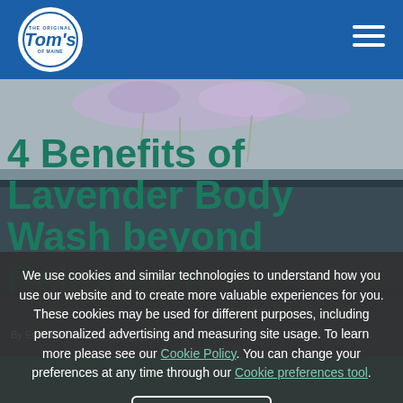Tom's of Maine
[Figure (logo): Tom's of Maine circular logo with white background and blue text]
4 Benefits of Lavender Body Wash beyond Relaxation
By Erica Loop in Natural Products
We use cookies and similar technologies to understand how you use our website and to create more valuable experiences for you. These cookies may be used for different purposes, including personalized advertising and measuring site usage. To learn more please see our Cookie Policy. You can change your preferences at any time through our Cookie preferences tool.
Accept